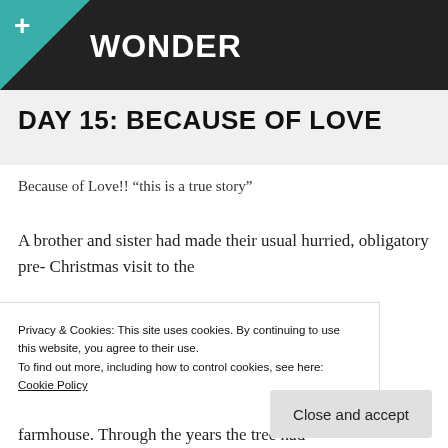WONDER
DAY 15: BECAUSE OF LOVE
Because of Love!! “this is a true story”
A brother and sister had made their usual hurried, obligatory pre-Christmas visit to the farmhouse. Through the years the tree had
Privacy & Cookies: This site uses cookies. By continuing to use this website, you agree to their use.
To find out more, including how to control cookies, see here: Cookie Policy
Close and accept